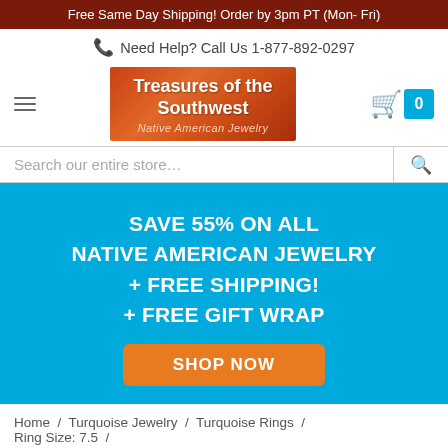Free Same Day Shipping! Order by 3pm PT (Mon- Fri)
Need Help? Call Us 1-877-892-0297
[Figure (logo): Treasures of the Southwest - Native American Jewelry logo on orange-red gradient background]
[Figure (screenshot): Search bar with placeholder 'Search our entire store...' and search icon]
SAVE 55% ON ALL NATIVE AMERICAN JEWELRY + FREE SHIPPING! + FREE GIFT WRAP
SHOP NOW
Home / Turquoise Jewelry / Turquoise Rings / Ring Size: 7.5 /
Artie Yellowhorse Genuine Carnelian Sterling Silver Navajo